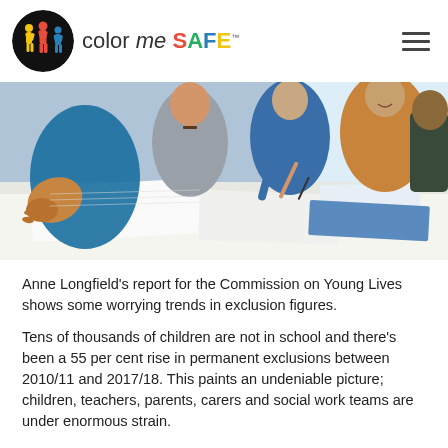color me SAFE
[Figure (photo): Group of young people sitting around a table writing and studying together, photographed from a low angle with white papers on the table in the foreground.]
Anne Longfield's report for the Commission on Young Lives shows some worrying trends in exclusion figures.
Tens of thousands of children are not in school and there's been a 55 per cent rise in permanent exclusions between 2010/11 and 2017/18. This paints an undeniable picture; children, teachers, parents, carers and social work teams are under enormous strain.